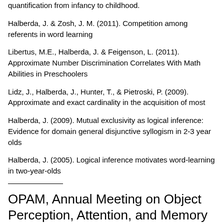quantification from infancy to childhood.
Halberda, J. & Zosh, J. M. (2011). Competition among referents in word learning
Libertus, M.E., Halberda, J. & Feigenson, L. (2011). Approximate Number Discrimination Correlates With Math Abilities in Preschoolers
Lidz, J., Halberda, J., Hunter, T., & Pietroski, P. (2009). Approximate and exact cardinality in the acquisition of most
Halberda, J. (2009). Mutual exclusivity as logical inference: Evidence for domain general disjunctive syllogism in 2-3 year olds
Halberda, J. (2005). Logical inference motivates word-learning in two-year-olds
OPAM, Annual Meeting on Object Perception, Attention, and Memory
Pailian, H., & Halberda, J. (2013). Independent costs for storing and manipulating information in visual working memory